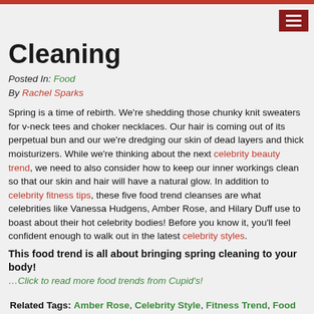Cleaning
Posted In: Food
By Rachel Sparks
Spring is a time of rebirth. We're shedding those chunky knit sweaters for v-neck tees and choker necklaces. Our hair is coming out of its perpetual bun and our we're dredging our skin of dead layers and thick moisturizers. While we're thinking about the next celebrity beauty trend, we need to also consider how to keep our inner workings clean so that our skin and hair will have a natural glow. In addition to celebrity fitness tips, these five food trend cleanses are what celebrities like Vanessa Hudgens, Amber Rose, and Hilary Duff use to boast about their hot celebrity bodies! Before you know it, you'll feel confident enough to walk out in the latest celebrity styles.
This food trend is all about bringing spring cleaning to your body!
…Click to read more food trends from Cupid's!
Related Tags: Amber Rose, Celebrity Style, Fitness Trend, Food trend, Hilary Duff, Rachel Sparks, Vanessa Hudgens